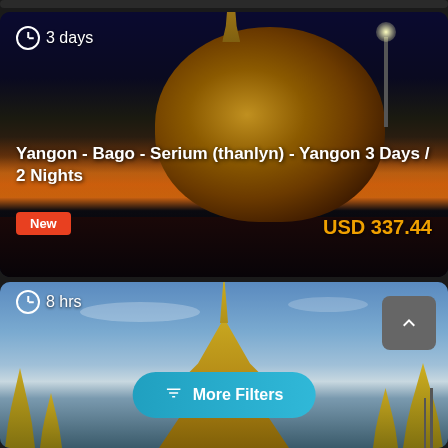[Figure (photo): Partial view of a travel listing card at top, mostly cropped]
[Figure (photo): Golden Rock (Kyaikhtiyo Pagoda) at twilight with orange horizon, stupa on top, street light visible on right side. Duration badge '3 days' at top left.]
3 days
Yangon - Bago - Serium (thanlyn) - Yangon 3 Days / 2 Nights
New
USD 337.44
[Figure (photo): Golden Shwedagon Pagoda against blue sky with smaller pagodas surrounding it. Duration badge '8 hrs' at top left.]
8 hrs
More Filters